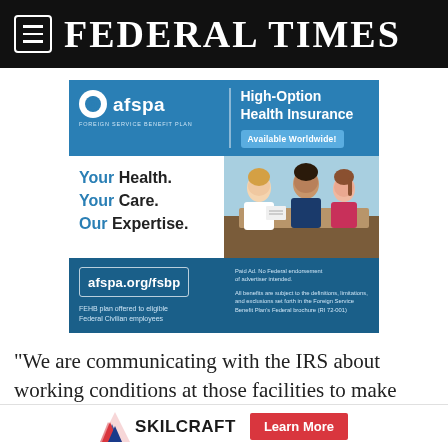FEDERAL TIMES
[Figure (infographic): AFSPA Foreign Service Benefit Plan advertisement. High-Option Health Insurance Available Worldwide. Your Health. Your Care. Our Expertise. afspa.org/fsbp. FEHB plan offered to eligible Federal Civilian employees.]
“We are communicating with the IRS about working conditions at those facilities to make sure there are
SKILCRAFT   Learn More